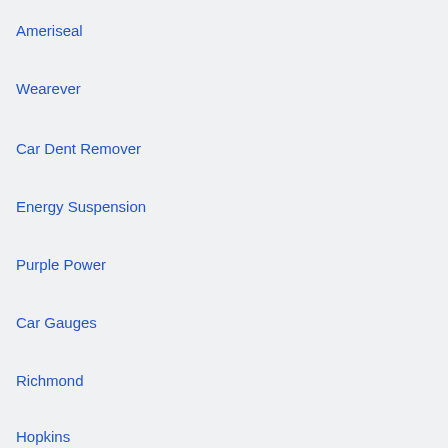Ameriseal
Wearever
Car Dent Remover
Energy Suspension
Purple Power
Car Gauges
Richmond
Hopkins